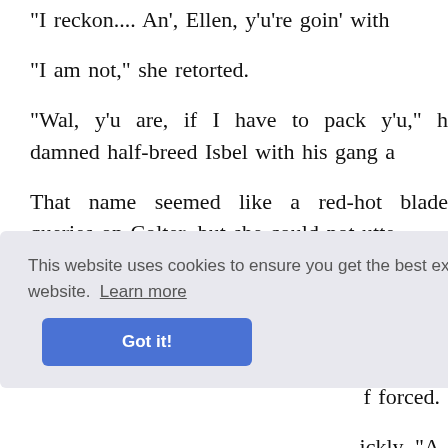"I reckon.... An', Ellen, y'u're goin' with
"I am not," she retorted.
"Wal, y'u are, if I have to pack y'u," h damned half-breed Isbel with his gang a
That name seemed like a red-hot blade queries on Colter, but she could not utte
"Ellen, we've got to hit the trail an' hide alone. Suppose them Isbels would trap tree. Ellen, shore y'u're goin'.... Y'u heah
f forced.
ickly. "A
purs and put her blank nothingness of the cabin interio